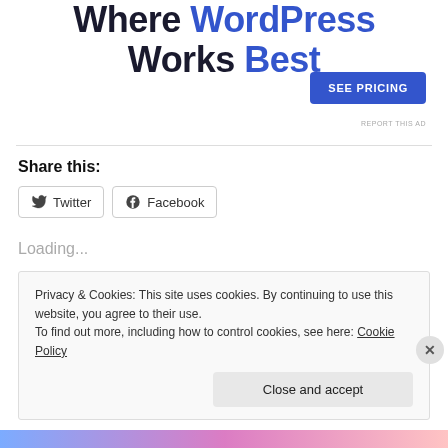Where WordPress Works Best
SEE PRICING
REPORT THIS AD
Share this:
Twitter
Facebook
Loading...
Privacy & Cookies: This site uses cookies. By continuing to use this website, you agree to their use.
To find out more, including how to control cookies, see here: Cookie Policy
Close and accept